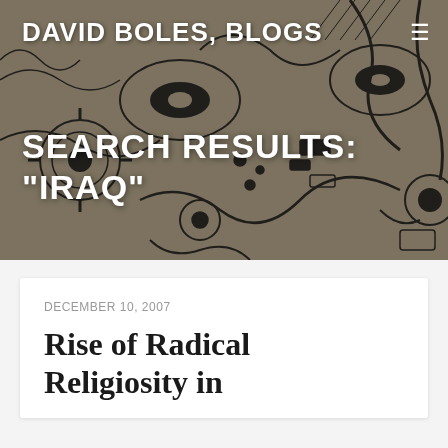DAVID BOLES, BLOGS
SEARCH RESULTS: "IRAQ"
DECEMBER 10, 2007
Rise of Radical Religiosity in